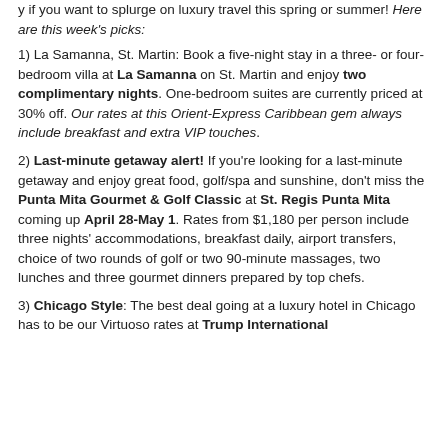y if you want to splurge on luxury travel this spring or summer! Here are this week's picks:
1) La Samanna, St. Martin: Book a five-night stay in a three- or four-bedroom villa at La Samanna on St. Martin and enjoy two complimentary nights. One-bedroom suites are currently priced at 30% off. Our rates at this Orient-Express Caribbean gem always include breakfast and extra VIP touches.
2) Last-minute getaway alert! If you're looking for a last-minute getaway and enjoy great food, golf/spa and sunshine, don't miss the Punta Mita Gourmet & Golf Classic at St. Regis Punta Mita coming up April 28-May 1. Rates from $1,180 per person include three nights' accommodations, breakfast daily, airport transfers, choice of two rounds of golf or two 90-minute massages, two lunches and three gourmet dinners prepared by top chefs.
3) Chicago Style: The best deal going at a luxury hotel in Chicago has to be our Virtuoso rates at Trump International Hotel Chicago. Our p...